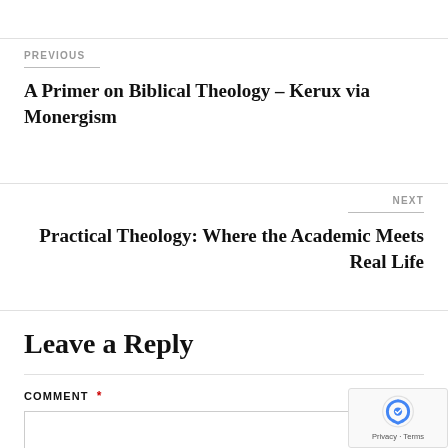PREVIOUS
A Primer on Biblical Theology – Kerux via Monergism
NEXT
Practical Theology: Where the Academic Meets Real Life
Leave a Reply
COMMENT *